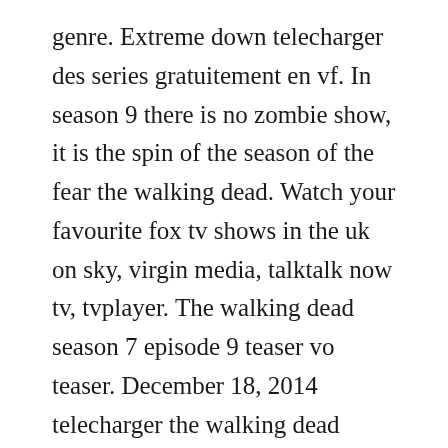genre. Extreme down telecharger des series gratuitement en vf. In season 9 there is no zombie show, it is the spin of the season of the fear the walking dead. Watch your favourite fox tv shows in the uk on sky, virgin media, talktalk now tv, tvplayer. The walking dead season 7 episode 9 teaser vo teaser. December 18, 2014 telecharger the walking dead saison 3 episode 7. Unofficial soundtrack of the walking dead season 9 by bear mccreary.
Download and watch the episode 2 stats trailer to see how difficult choices and